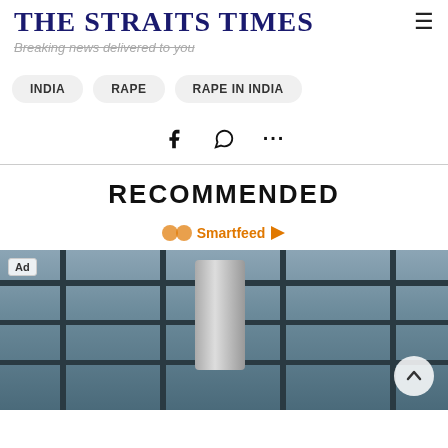THE STRAITS TIMES
Breaking news delivered to you
INDIA
RAPE
RAPE IN INDIA
RECOMMENDED
Smartfeed
[Figure (photo): Industrial steel frame structure with cylindrical tanks and pipes against a cloudy sky. Ad label visible in top-left corner.]